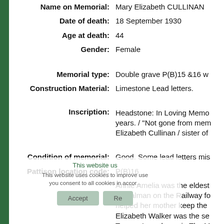| Field | Value |
| --- | --- |
| Name on Memorial: | Mary Elizabeth CULLINAN |
| Date of death: | 18 September 1930 |
| Age at death: | 44 |
| Gender: | Female |
| Memorial type: | Double grave P(B)15 &16 w |
| Construction Material: | Limestone Lead letters. |
| Inscription: | Headstone: In Loving Memo years. / "Not gone from mem Elizabeth Cullinan / sister of |
| Condition of memorial: | Good. Some lead letters mis |
| Pattison location code: | P(B)16 |
|  | Annie Amelia was the eldest Signalman on the Railway fo helped her mother keep the Elizabeth Walker was the se Tarry, a Laundress, in The M records. She first marries Be lived in Pangbourne with the |
| Other Notes: | died aged 6 in Pangbourne a |